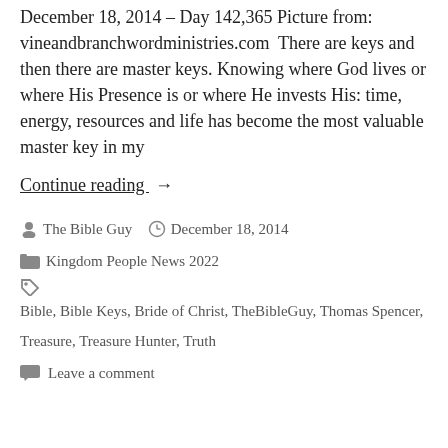December 18, 2014 – Day 142,365 Picture from: vineandbranchworldministries.com  There are keys and then there are master keys. Knowing where God lives or where His Presence is or where He invests His: time, energy, resources and life has become the most valuable master key in my
Continue reading  →
By The Bible Guy  •  December 18, 2014
Kingdom People News 2022
Bible, Bible Keys, Bride of Christ, TheBibleGuy, Thomas Spencer, Treasure, Treasure Hunter, Truth
Leave a comment